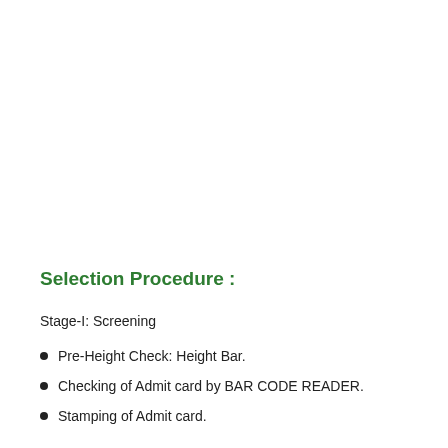Selection Procedure :
Stage-I: Screening
Pre-Height Check: Height Bar.
Checking of Admit card by BAR CODE READER.
Stamping of Admit card.